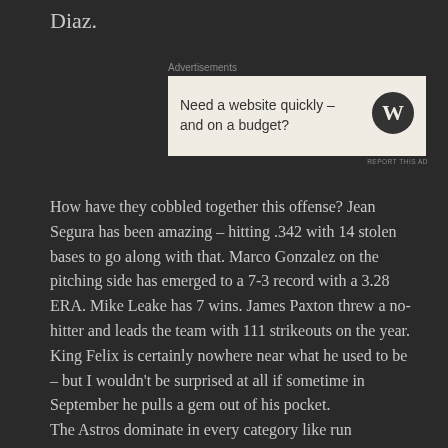Diaz.
[Figure (other): Advertisement banner: 'Need a website quickly – and on a budget?' with WordPress logo]
How have they cobbled together this offense? Jean Segura has been amazing – hitting .342 with 14 stolen bases to go along with that. Marco Gonzalez on the pitching side has emerged to a 7-3 record with a 3.28 ERA. Mike Leake has 7 wins. James Paxton threw a no-hitter and leads the team with 111 strikeouts on the year. King Felix is certainly nowhere near what he used to be – but I wouldn't be surprised at all if sometime in September he pulls a gem out of his pocket.
The Astros dominate in every category like run